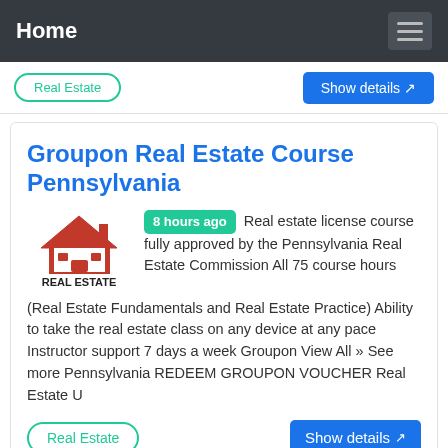Home
Groupon Real Estate Course Pennsylvania
[Figure (logo): Red house/roof logo with text REAL ESTATE underneath]
8 hours ago Real estate license course fully approved by the Pennsylvania Real Estate Commission All 75 course hours (Real Estate Fundamentals and Real Estate Practice) Ability to take the real estate class on any device at any pace Instructor support 7 days a week Groupon View All » See more Pennsylvania REDEEM GROUPON VOUCHER Real Estate U
Real Estate
Show details